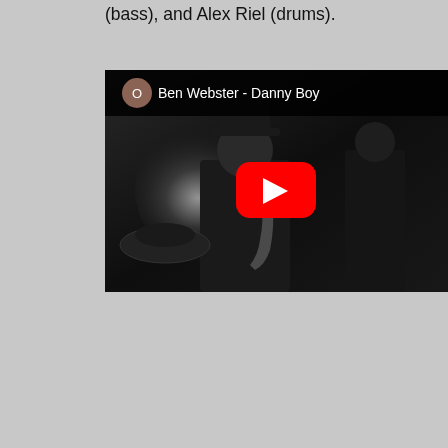(bass), and Alex Riel (drums).
[Figure (screenshot): YouTube video thumbnail showing 'Ben Webster - Danny Boy'. A black and white photo of a jazz musician playing saxophone wearing a hat and suit, with other musicians visible in the background. A red YouTube play button overlay is in the center. The video title bar shows a brownish-red avatar with the letter O and the text 'Ben Webster - Danny Boy'.]